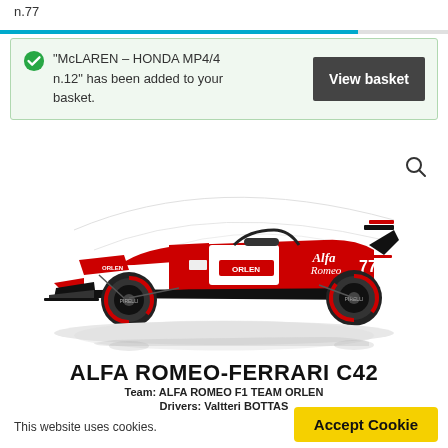n.77
"McLAREN – HONDA MP4/4 n.12" has been added to your basket.
View basket
[Figure (illustration): Side view illustration of the Alfa Romeo-Ferrari C42 Formula 1 car with red and white livery showing number 77 and Orlen sponsorship, with reflection below]
ALFA ROMEO-FERRARI C42
Team: ALFA ROMEO F1 TEAM ORLEN
Drivers: Valtteri BOTTAS
This website uses cookies.
Accept Cookie